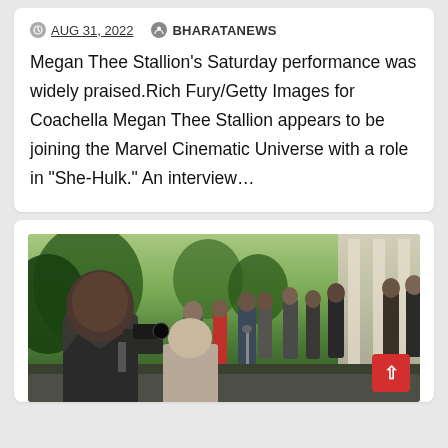AUG 31, 2022   BHARATANEWS
Megan Thee Stallion's Saturday performance was widely praised.Rich Fury/Getty Images for Coachella Megan Thee Stallion appears to be joining the Marvel Cinematic Universe with a role in “She-Hulk.” An interview…
[Figure (photo): Outdoor press conference scene with a man in a suit in the foreground and a group of people including press and officials standing in the background near a building with columns and trees.]